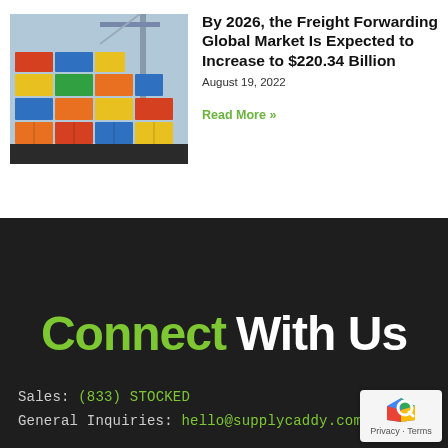[Figure (photo): Stacked colorful shipping containers at a port with crane visible]
By 2026, the Freight Forwarding Global Market Is Expected to Increase to $220.34 Billion
August 19, 2022
Read More »
Connect With Us
Sales: (833) STOCKED
General Inquiries: hello@supplycaddy.com